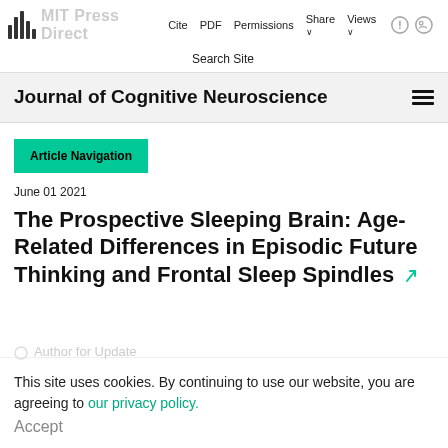MIT Press Direct | Cite  PDF  Permissions  Share  Views  Search Site
Journal of Cognitive Neuroscience
Article Navigation
June 01 2021
The Prospective Sleeping Brain: Age-Related Differences in Episodic Future Thinking and Frontal Sleep Spindles
This site uses cookies. By continuing to use our website, you are agreeing to our privacy policy. Accept